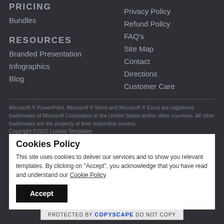PRICING
Bundles
RESOURCES
Branded Presentation
Infographics
Blog
Privacy Policy
Refund Policy
FAQ's
Site Map
Contact
Directions
Customer Care
Microsoft ® PowerPoint, Microsoft ® Word and Microsoft ® Excel are registered trademarks of Microsoft Corporation in the United States and/or other countries. All other trademarks are the property of their respective owners. Copyright ©2022 Luxtaio Templates
Cookies Policy
This site uses cookies to deliver our services and to show you relevant templates. By clicking on "Accept", you acknowledge that you have read and understand our Cookie Policy
[Figure (infographic): Payment method logos: Visa, Mastercard, American Express, JCB, Diners Club, PayPal]
PROTECTED BY COPYSCAPE DO NOT COPY